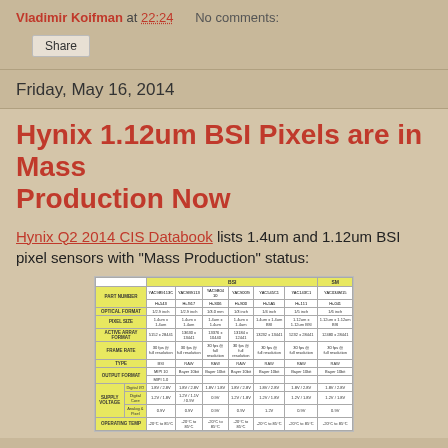Vladimir Koifman at 22:24   No comments:
Share
Friday, May 16, 2014
Hynix 1.12um BSI Pixels are in Mass Production Now
Hynix Q2 2014 CIS Databook lists 1.4um and 1.12um BSI pixel sensors with "Mass Production" status:
[Figure (table-as-image): Hynix CIS Databook table showing BSI and SM sensor part numbers, optical format, pixel size, active array format, frame rate, type, output format, supply voltage, and operating temp for multiple part numbers]